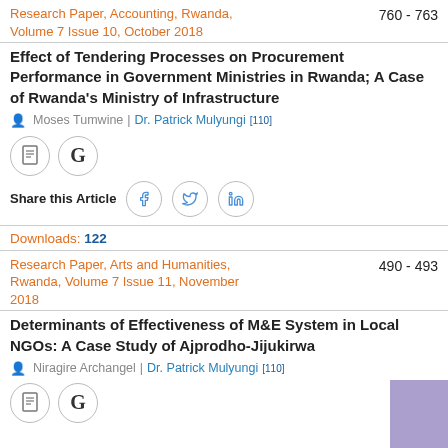Research Paper, Accounting, Rwanda, Volume 7 Issue 10, October 2018    760 - 763
Effect of Tendering Processes on Procurement Performance in Government Ministries in Rwanda; A Case of Rwanda's Ministry of Infrastructure
Moses Tumwine | Dr. Patrick Mulyungi [110]
[Figure (other): Document icon circle and Google G icon circle]
Share this Article
[Figure (other): Social share icons: Facebook, Twitter, LinkedIn]
Downloads: 122
Research Paper, Arts and Humanities, Rwanda, Volume 7 Issue 11, November 2018    490 - 493
Determinants of Effectiveness of M&E System in Local NGOs: A Case Study of Ajprodho-Jijukirwa
Niragire Archangel | Dr. Patrick Mulyungi [110]
[Figure (other): Document icon circle and Google G icon circle (partial, bottom of page)]